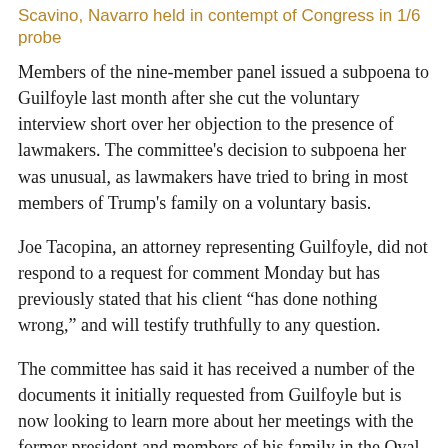Scavino, Navarro held in contempt of Congress in 1/6 probe
Members of the nine-member panel issued a subpoena to Guilfoyle last month after she cut the voluntary interview short over her objection to the presence of lawmakers. The committee's decision to subpoena her was unusual, as lawmakers have tried to bring in most members of Trump's family on a voluntary basis.
Joe Tacopina, an attorney representing Guilfoyle, did not respond to a request for comment Monday but has previously stated that his client “has done nothing wrong,” and will testify truthfully to any question.
The committee has said it has received a number of the documents it initially requested from Guilfoyle but is now looking to learn more about her meetings with the former president and members of his family in the Oval Office the morning of the attack.
“Ms. Guilfoyle met with Donald Trump inside the White House, spoke at the rally that took place before the riot on January 6th, and apparently played a key role organizing and raising funds for that event,” Mississippi Rep. Bennie Thompson, the committee’s Democratic chairman, said in a March 3